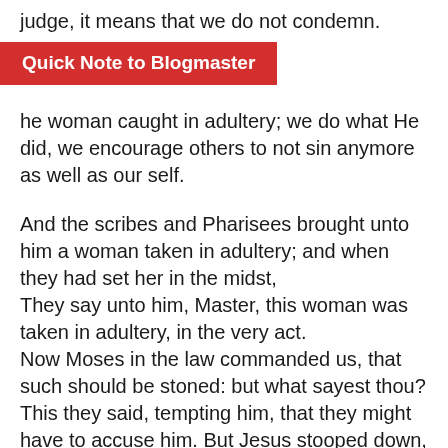judge, it means that we do not condemn. the woman caught in adultery; we do what He did, we encourage others to not sin anymore as well as our self.
Quick Note to Blogmaster
And the scribes and Pharisees brought unto him a woman taken in adultery; and when they had set her in the midst,
They say unto him, Master, this woman was taken in adultery, in the very act.
Now Moses in the law commanded us, that such should be stoned: but what sayest thou?
This they said, tempting him, that they might have to accuse him. But Jesus stooped down, and with his finger wrote on the ground, as though he heard them not.
So when they continued asking him, he lifted up himself, and said unto them, He that is without sin among you, let him first cast a stone at her.